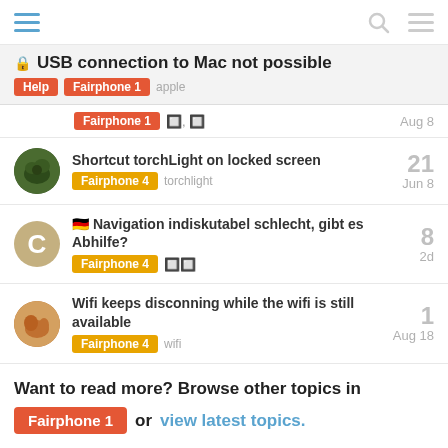Navigation header with hamburger menu, search icon, and menu icon
🔒 USB connection to Mac not possible
Tags: Help, Fairphone 1, apple
Fairphone 1 [symbols] Aug 8
Shortcut torchLight on locked screen — 21 replies — Fairphone 4, torchlight — Jun 8
🇩🇪 Navigation indiskutabel schlecht, gibt es Abhilfe? — 8 replies — Fairphone 4 [symbols] — 2d
Wifi keeps disconning while the wifi is still available — 1 reply — Fairphone 4, wifi — Aug 18
Want to read more? Browse other topics in Fairphone 1 or view latest topics.